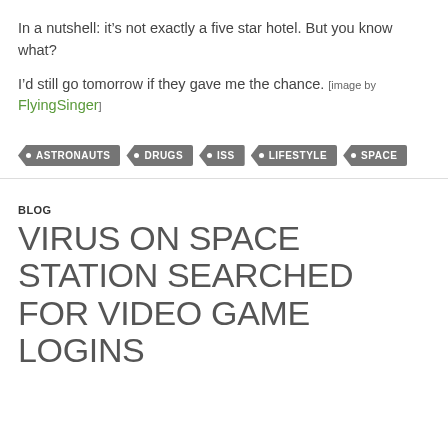In a nutshell: it’s not exactly a five star hotel. But you know what?
I’d still go tomorrow if they gave me the chance. [image by FlyingSinger]
ASTRONAUTS
DRUGS
ISS
LIFESTYLE
SPACE
BLOG
VIRUS ON SPACE STATION SEARCHED FOR VIDEO GAME LOGINS